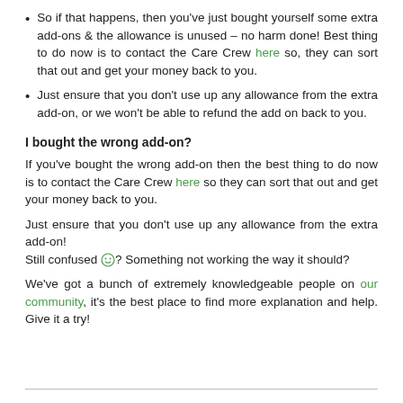So if that happens, then you've just bought yourself some extra add-ons & the allowance is unused – no harm done! Best thing to do now is to contact the Care Crew here so, they can sort that out and get your money back to you.
Just ensure that you don't use up any allowance from the extra add-on, or we won't be able to refund the add on back to you.
I bought the wrong add-on?
If you've bought the wrong add-on then the best thing to do now is to contact the Care Crew here so they can sort that out and get your money back to you.
Just ensure that you don't use up any allowance from the extra add-on!
Still confused 🙂? Something not working the way it should?
We've got a bunch of extremely knowledgeable people on our community, it's the best place to find more explanation and help. Give it a try!